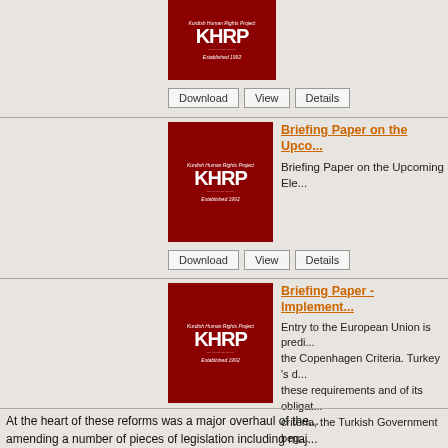[Figure (logo): KHRP (Kurdish Human Rights Project) logo on dark red background, Established 1992]
Download   View   Details
Briefing Paper on the Upcoming Ele...
Briefing Paper on the Upcoming Ele...
[Figure (logo): KHRP (Kurdish Human Rights Project) logo on dark red background, Established 1992]
Download   View   Details
Briefing Paper - Implement...
Entry to the European Union is predi... the Copenhagen Criteria. Turkey 's d... these requirements and of its obligat... criteria, the Turkish Government beg... domestic legislation with the Copenh...
[Figure (logo): KHRP (Kurdish Human Rights Project) logo on dark red background, Established 1992]
At the heart of these reforms was a major overhaul of the... amending a number of pieces of legislation including maj... intended to liberalise the Turkish legal system, advance f...